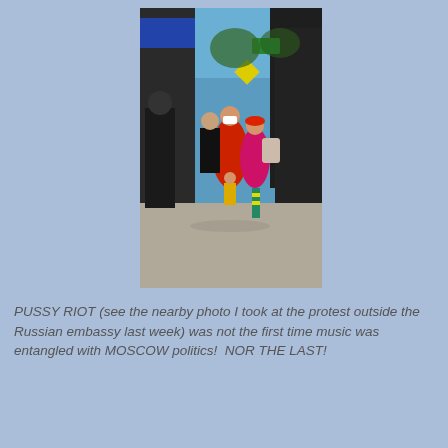[Figure (photo): Outdoor protest scene on a city sidewalk. People in colorful costumes including red dresses and masks are gathered near a metal fence structure. A police officer in black uniform is visible. Buildings and scaffolding are seen in the background under a blue sky.]
PUSSY RIOT (see the nearby photo I took at the protest outside the Russian embassy last week) was not the first time music was entangled with MOSCOW politics!  NOR THE LAST!